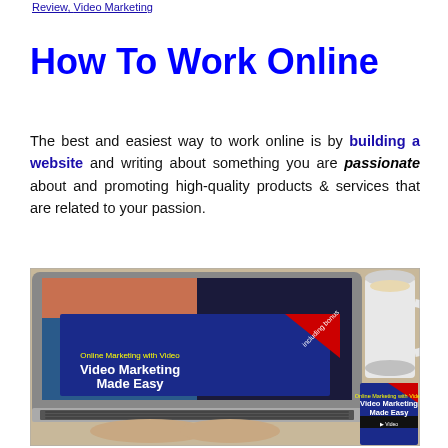Review, Video Marketing
How To Work Online
The best and easiest way to work online is by building a website and writing about something you are passionate about and promoting high-quality products & services that are related to your passion.
[Figure (photo): Photo collage showing a laptop displaying 'Video Marketing Made Easy' course cover with a coffee mug and a book/product box of 'Video Marketing Made Easy' on a wooden table, with hands typing on the laptop keyboard.]